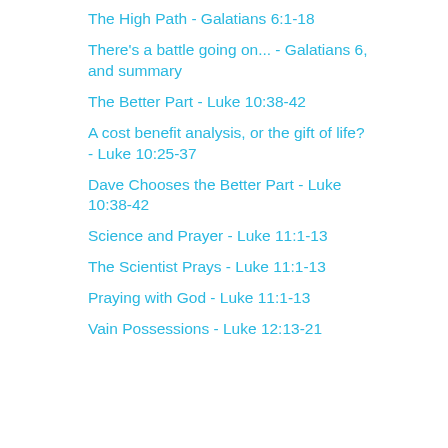The High Path - Galatians 6:1-18
There's a battle going on... - Galatians 6, and summary
The Better Part - Luke 10:38-42
A cost benefit analysis, or the gift of life? - Luke 10:25-37
Dave Chooses the Better Part - Luke 10:38-42
Science and Prayer - Luke 11:1-13
The Scientist Prays - Luke 11:1-13
Praying with God - Luke 11:1-13
Vain Possessions - Luke 12:13-21